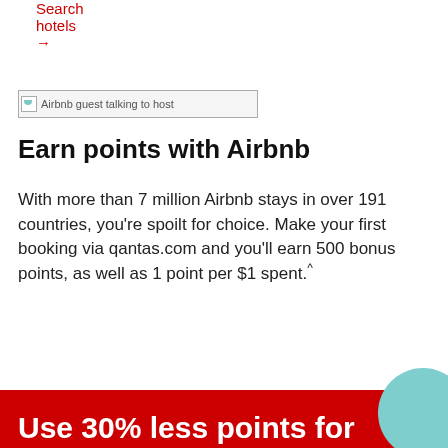Search hotels →
[Figure (photo): Airbnb guest talking to host]
Earn points with Airbnb
With more than 7 million Airbnb stays in over 191 countries, you're spoilt for choice. Make your first booking via qantas.com and you'll earn 500 bonus points, as well as 1 point per $1 spent.^
Discover Airbnb →
[Figure (photo): Children snorkling with fish]
Use 30% less points for